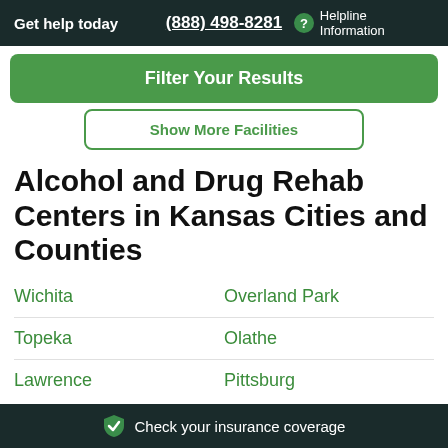Get help today  (888) 498-8281  ? Helpline Information
Filter Your Results
Show More Facilities
Alcohol and Drug Rehab Centers in Kansas Cities and Counties
Wichita
Overland Park
Topeka
Olathe
Lawrence
Pittsburg
Check your insurance coverage